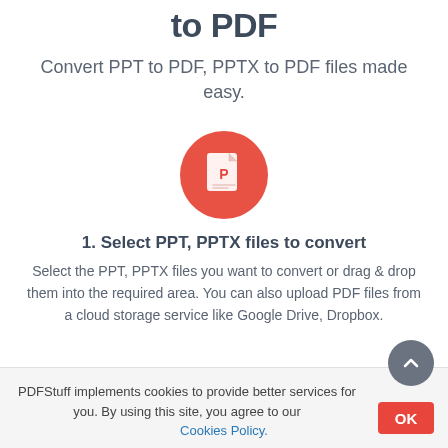to PDF
Convert PPT to PDF, PPTX to PDF files made easy.
[Figure (illustration): Red circle icon with a white PowerPoint/PDF file document icon (showing a 'P' letter on the page)]
1. Select PPT, PPTX files to convert
Select the PPT, PPTX files you want to convert or drag & drop them into the required area. You can also upload PDF files from a cloud storage service like Google Drive, Dropbox.
PDFStuff implements cookies to provide better services for you. By using this site, you agree to our Cookies Policy.